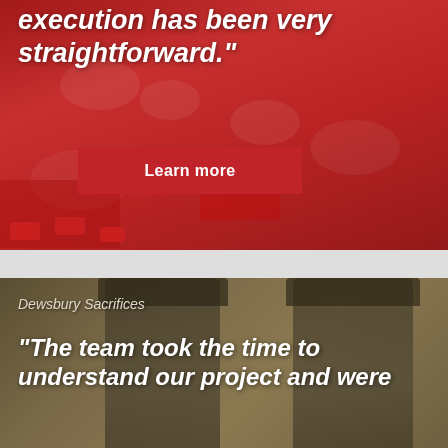[Figure (photo): Red-tinted photo of swimmers or crowd in a pool with red overlay, partially visible at top of page]
execution has been very straightforward."
Learn more
[Figure (photo): Sepia/olive-toned photo of two men dressed in WWI-era British military officer uniforms with peaked caps, standing in what appears to be a hall]
Dewsbury Sacrifices
"The team took the time to understand our project and were